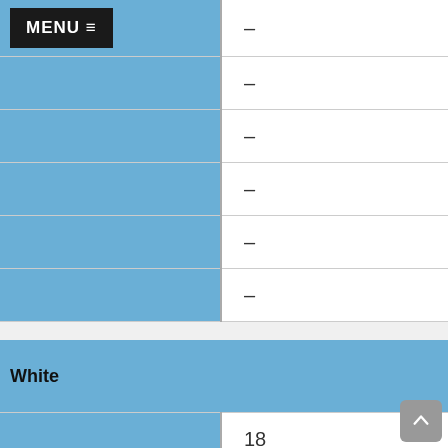|  |  |
| --- | --- |
| MENU ≡ | – |
|  | – |
|  | – |
|  | – |
|  | – |
|  | – |
| White |  |
| --- | --- |
|  | 18 |
|  | 0 |
|  | 0% |
|  | 3 |